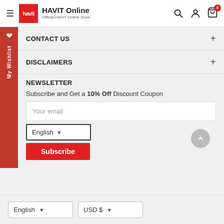HAVIT Online — Official HAVIT Online Store
CONTACT US
DISCLAIMERS
NEWSLETTER
Subscribe and Get a 10% Off Discount Coupon
Your email
English  Subscribe
English  USD $